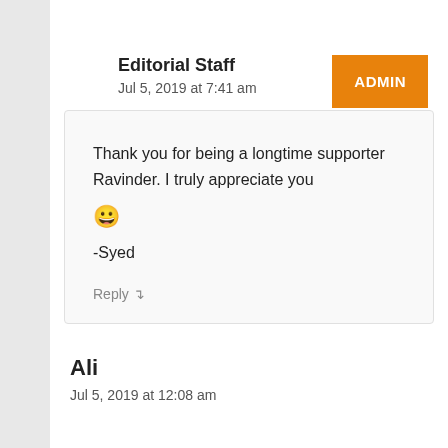Editorial Staff
Jul 5, 2019 at 7:41 am
ADMIN
Thank you for being a longtime supporter Ravinder. I truly appreciate you 😀

-Syed
Reply
Ali
Jul 5, 2019 at 12:08 am